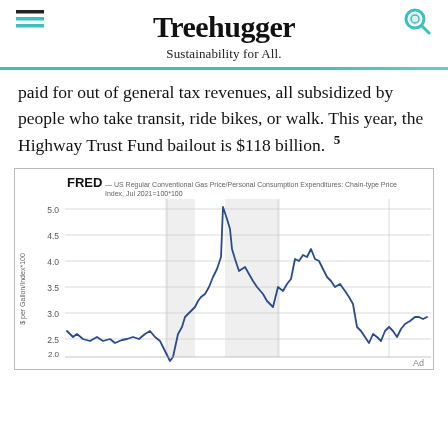Treehugger — Sustainability for All.
paid for out of general tax revenues, all subsidized by people who take transit, ride bikes, or walk. This year, the Highway Trust Fund bailout is $118 billion. 5
[Figure (continuous-plot): FRED line chart: US Regular Conventional Gas Price/Personal Consumption Expenditures: Chain-type Price Index, Jul 2021=100*100. Y-axis: $ per Gallon/Index*100, range 1.5 to 5.0. Shows gas price rising dramatically from ~2.0 in early period, spiking near 4.8, then falling and recovering to ~3.0.]